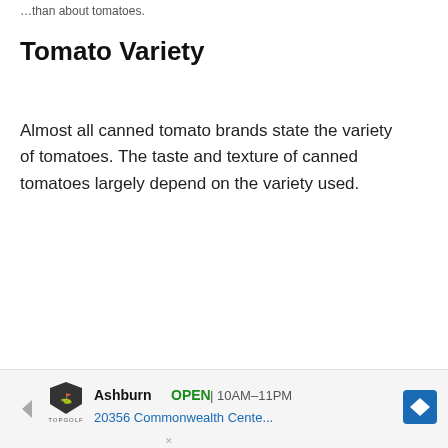…than about tomatoes.
Tomato Variety
Almost all canned tomato brands state the variety of tomatoes. The taste and texture of canned tomatoes largely depend on the variety used.
Plum…
[Figure (other): Advertisement banner for Topgolf Ashburn showing OPEN status, hours 10AM-11PM, address 20356 Commonwealth Cente..., with navigation arrow icon]